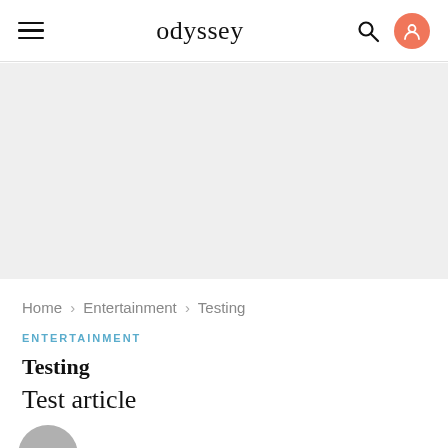odyssey
[Figure (other): Gray advertisement/banner placeholder area below navigation bar]
Home › Entertainment › Testing
ENTERTAINMENT
Testing
Test article
[Figure (photo): Partial image preview at bottom of page, circular crop]